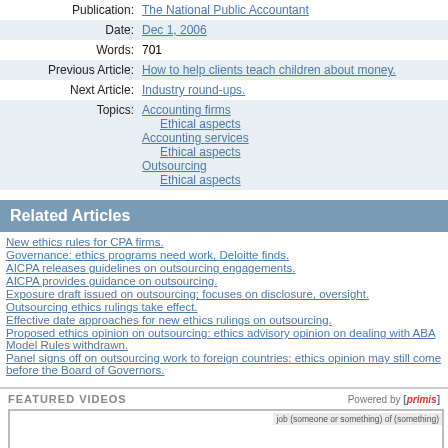| Publication: | The National Public Accountant |
| Date: | Dec 1, 2006 |
| Words: | 701 |
| Previous Article: | How to help clients teach children about money. |
| Next Article: | Industry round-ups. |
| Topics: | Accounting firms
    Ethical aspects
Accounting services
    Ethical aspects
Outsourcing
    Ethical aspects |
Related Articles
New ethics rules for CPA firms.
Governance: ethics programs need work, Deloitte finds.
AICPA releases guidelines on outsourcing engagements.
AICPA provides guidance on outsourcing.
Exposure draft issued on outsourcing; focuses on disclosure, oversight.
Outsourcing ethics rulings take effect.
Effective date approaches for new ethics rulings on outsourcing.
Proposed ethics opinion on outsourcing: ethics advisory opinion on dealing with ABA Model Rules withdrawn.
Panel signs off on outsourcing work to foreign countries: ethics opinion may still come before the Board of Governors.
FEATURED VIDEOS — Powered by [primis]
[Figure (screenshot): Video thumbnail showing text: He really robbed me of my dignity with the way he chas... with a hand image]